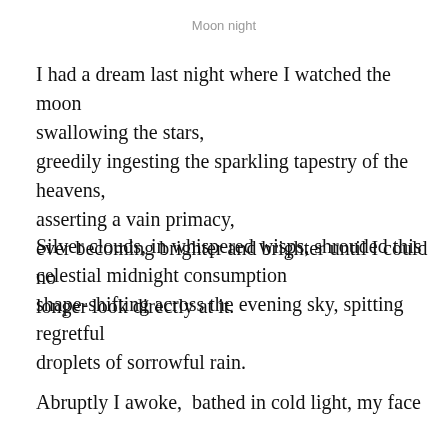Moon night
I had a dream last night where I watched the moon swallowing the stars,
greedily ingesting the sparkling tapestry of the heavens,
asserting a vain primacy,
ever becoming brighter and brighter until I could no longer look directly at it.
Silver clouds, in whispered wisps, shrouded this celestial midnight consumption
shape-shifting across the evening sky, spitting regretful droplets of sorrowful rain.
Abruptly I awoke,  bathed in cold light, my face